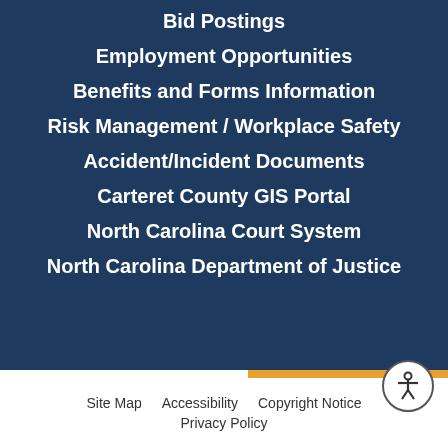Bid Postings
Employment Opportunities
Benefits and Forms Information
Risk Management / Workplace Safety
Accident/Incident Documents
Carteret County GIS Portal
North Carolina Court System
North Carolina Department of Justice
Site Map   Accessibility   Copyright Notice   Privacy Policy